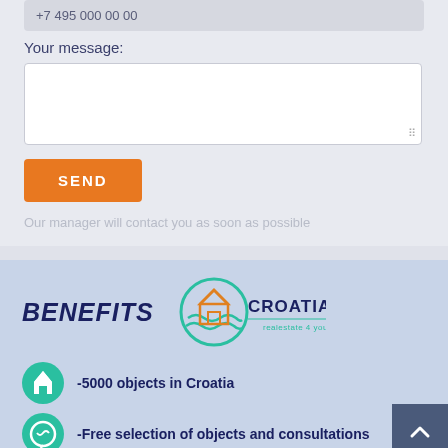+7 495 000 00 00
Your message:
SEND
Our manager will contact you as soon as possible
BENEFITS
[Figure (logo): Croatia realestate 4 you logo with circular teal wave design and house icon]
-5000 objects in Croatia
-Free selection of objects and consultations
-Object checking